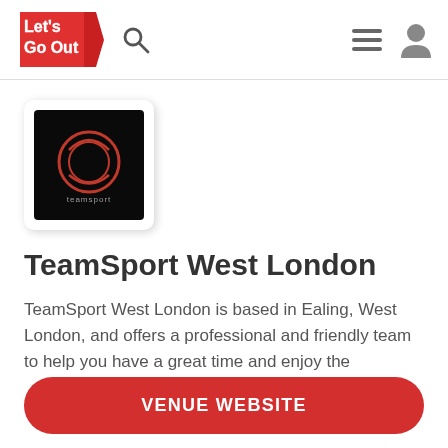[Figure (logo): Let's Go Out app logo with red and white text on white background]
[Figure (logo): TeamSport venue logo: black square with red circular emblem and 'teamsport' text below]
TeamSport West London
TeamSport West London is based in Ealing, West London, and offers a professional and friendly team to help you have a great time and enjoy the
VENUE WEBSITE